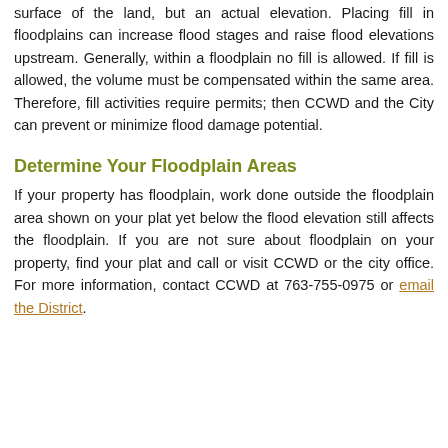surface of the land, but an actual elevation. Placing fill in floodplains can increase flood stages and raise flood elevations upstream. Generally, within a floodplain no fill is allowed. If fill is allowed, the volume must be compensated within the same area. Therefore, fill activities require permits; then CCWD and the City can prevent or minimize flood damage potential.
Determine Your Floodplain Areas
If your property has floodplain, work done outside the floodplain area shown on your plat yet below the flood elevation still affects the floodplain. If you are not sure about floodplain on your property, find your plat and call or visit CCWD or the city office. For more information, contact CCWD at 763-755-0975 or email the District.